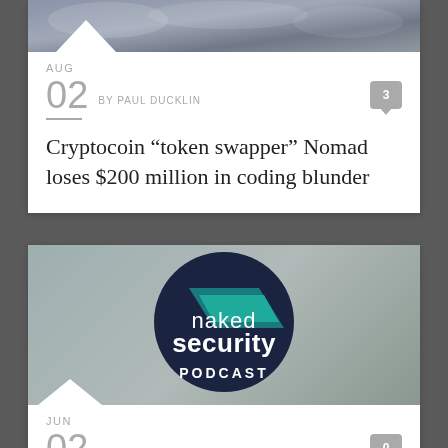[Figure (screenshot): Stormy sky background image for first article card]
AUG
02 BY PAUL DUCKLIN
3
Cryptocoin “token swapper” Nomad loses $200 million in coding blunder
[Figure (logo): Naked Security Podcast logo — dark navy circle with teal geometric accent and white text reading 'naked security PODCAST' on grey background]
JUN
02 BY PAUL DUCKLIN
0